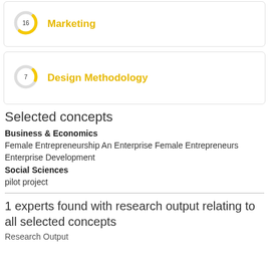[Figure (donut-chart): Marketing]
[Figure (donut-chart): Design Methodology]
Selected concepts
Business & Economics
Female Entrepreneurship An Enterprise Female Entrepreneurs Enterprise Development
Social Sciences
pilot project
1 experts found with research output relating to all selected concepts
Research Output